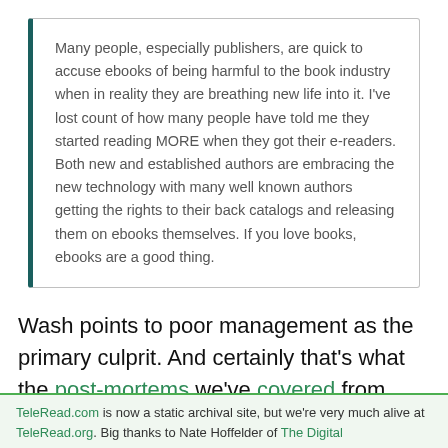Many people, especially publishers, are quick to accuse ebooks of being harmful to the book industry when in reality they are breathing new life into it. I've lost count of how many people have told me they started reading MORE when they got their e-readers. Both new and established authors are embracing the new technology with many well known authors getting the rights to their back catalogs and releasing them on ebooks themselves. If you love books, ebooks are a good thing.
Wash points to poor management as the primary culprit. And certainly that's what the post-mortems we've covered from people who were actually
TeleRead.com is now a static archival site, but we're very much alive at TeleRead.org. Big thanks to Nate Hoffelder of The Digital